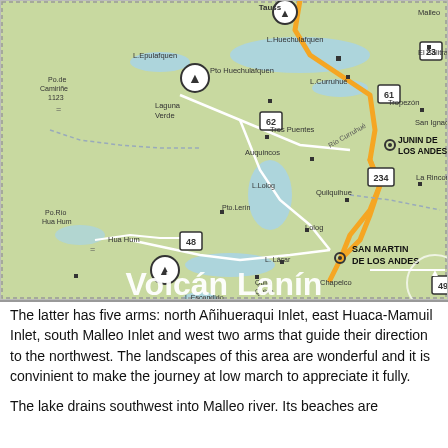[Figure (map): Map of Volcán Lanín area in Argentina showing lakes, towns, roads including routes 23, 61, 62, 234, 48, 49, and key locations such as Junin de los Andes, San Martin de los Andes, Hua Hum, Quilquihue, Tres Puentes, Auquincos, Lolog, Pto. Lerin, Chapelco, L. Lácar, L. Escondido, L. Machónico, L. Hermoso, L. Meliquina, L. Lolog, L. Epulafquen, L. Huechulafquen, Pto Huechulafquen, L. Curruhué, Laguna Verde, Tropezón, San Ignacio, La Rinconada, El Salitral, Po de Camiriñe 1123, Po Río Hua Hum, Port de Cajón Negro 1356. Title reads Volcán Lanín.]
The latter has five arms: north Añihueraqui Inlet, east Huaca-Mamuil Inlet, south Malleo Inlet and west two arms that guide their direction to the northwest. The landscapes of this area are wonderful and it is convinient to make the journey at low march to appreciate it fully.
The lake drains southwest into Malleo river. Its beaches are